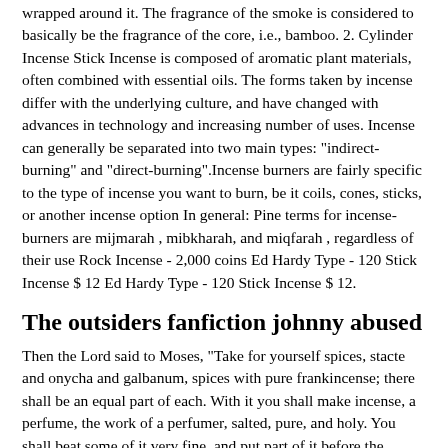wrapped around it. The fragrance of the smoke is considered to basically be the fragrance of the core, i.e., bamboo. 2. Cylinder Incense Stick Incense is composed of aromatic plant materials, often combined with essential oils. The forms taken by incense differ with the underlying culture, and have changed with advances in technology and increasing number of uses. Incense can generally be separated into two main types: "indirect-burning" and "direct-burning".Incense burners are fairly specific to the type of incense you want to burn, be it coils, cones, sticks, or another incense option In general: Pine terms for incense-burners are mijmarah , mibkharah, and miqfarah , regardless of their use Rock Incense - 2,000 coins Ed Hardy Type - 120 Stick Incense $ 12 Ed Hardy Type - 120 Stick Incense $ 12.
The outsiders fanfiction johnny abused
Then the Lord said to Moses, "Take for yourself spices, stacte and onycha and galbanum, spices with pure frankincense; there shall be an equal part of each. With it you shall make incense, a perfume, the work of a perfumer, salted, pure, and holy. You shall beat some of it very fine, and put part of it before the testimony in the tent of meeting where I will meet with you; it shall be most ...Incense Resins, Woods and Herbs; used since antiquity for making fine whole herb incense and fragrance products. Keep out of the reach of children. Do not take internally. Botanicals are sold at market